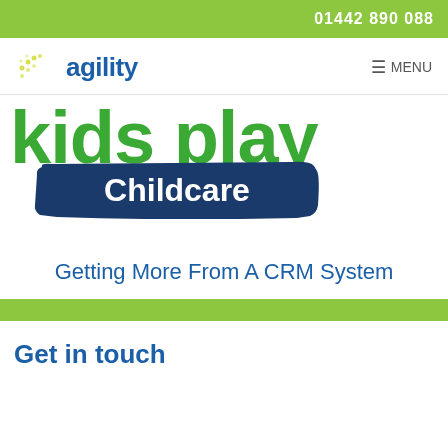01442 890 088
[Figure (logo): Agility logo with blue dot pattern and blue 'agility' text]
≡ MENU
[Figure (logo): Kids Play Childcare logo — 'kids play' in large green bold text, 'Childcare' in white bold text on a dark blue brush-stroke background]
Getting More From A CRM System
Get in touch